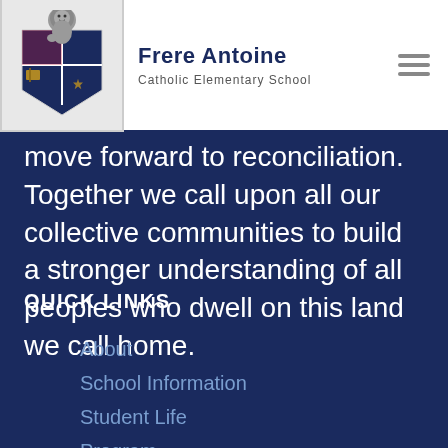Frere Antoine Catholic Elementary School
move forward to reconciliation. Together we call upon all our collective communities to build a stronger understanding of all peoples who dwell on this land we call home.
QUICK LINKS
About
School Information
Student Life
Program